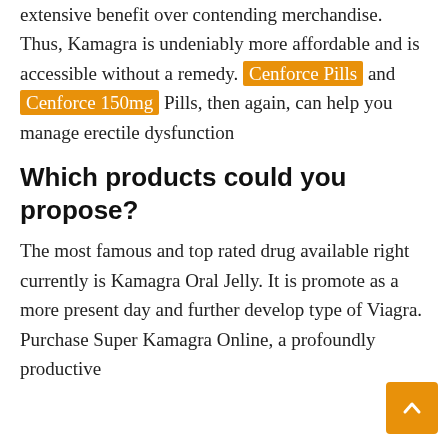extensive benefit over contending merchandise. Thus, Kamagra is undeniably more affordable and is accessible without a remedy. Cenforce Pills and Cenforce 150mg Pills, then again, can help you manage erectile dysfunction
Which products could you propose?
The most famous and top rated drug available right currently is Kamagra Oral Jelly. It is promote as a more present day and further develop type of Viagra. Purchase Super Kamagra Online, a profoundly productive